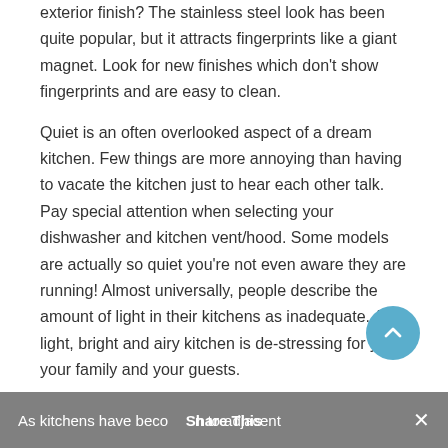exterior finish? The stainless steel look has been quite popular, but it attracts fingerprints like a giant magnet. Look for new finishes which don't show fingerprints and are easy to clean.
Quiet is an often overlooked aspect of a dream kitchen. Few things are more annoying than having to vacate the kitchen just to hear each other talk. Pay special attention when selecting your dishwasher and kitchen vent/hood. Some models are actually so quiet you're not even aware they are running! Almost universally, people describe the amount of light in their kitchens as inadequate. A light, bright and airy kitchen is de-stressing for you, your family and your guests.
As kitchens have become open to adjacent   Share This   ✕